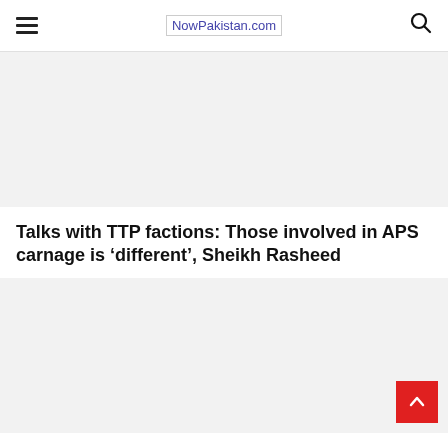NowPakistan.com
[Figure (other): Gray advertisement/placeholder block at the top of the page]
Talks with TTP factions: Those involved in APS carnage is ‘different’, Sheikh Rasheed
[Figure (other): Gray advertisement/placeholder block at the bottom of the page with a red scroll-to-top button in the bottom right corner]